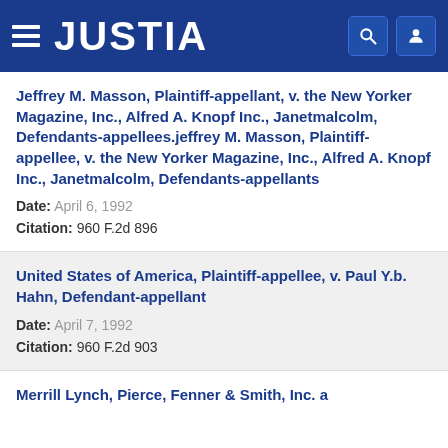JUSTIA
Jeffrey M. Masson, Plaintiff-appellant, v. the New Yorker Magazine, Inc., Alfred A. Knopf Inc., Janetmalcolm, Defendants-appellees.jeffrey M. Masson, Plaintiff-appellee, v. the New Yorker Magazine, Inc., Alfred A. Knopf Inc., Janetmalcolm, Defendants-appellants
Date: April 6, 1992
Citation: 960 F.2d 896
United States of America, Plaintiff-appellee, v. Paul Y.b. Hahn, Defendant-appellant
Date: April 7, 1992
Citation: 960 F.2d 903
Merrill Lynch, Pierce, Fenner & Smith, Inc. a